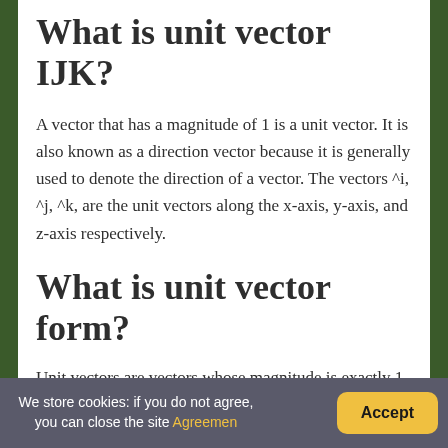What is unit vector IJK?
A vector that has a magnitude of 1 is a unit vector. It is also known as a direction vector because it is generally used to denote the direction of a vector. The vectors ^i, ^j, ^k, are the unit vectors along the x-axis, y-axis, and z-axis respectively.
What is unit vector form?
Unit vectors are vectors whose magnitude is exactly 1 unit. They are very useful for different
We store cookies: if you do not agree, you can close the site Agreemen